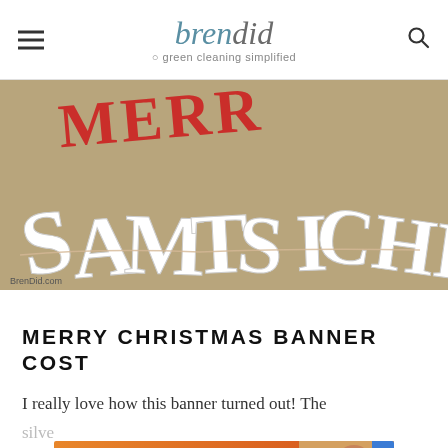bren did - green cleaning simplified
[Figure (photo): A close-up photo of a Merry Christmas banner with large white corrugated cardboard letters on a tan/kraft paper background, with some red stitched letters visible at the top.]
MERRY CHRISTMAS BANNER COST
I really love how this banner turned out! The silver...newl...
[Figure (photo): Advertisement banner: 'ARE YOU READY FOR SUMMER? BURN FAT FAST WITH PROLON' with an image of a woman wearing sunglasses and the Prolon brand logo.]